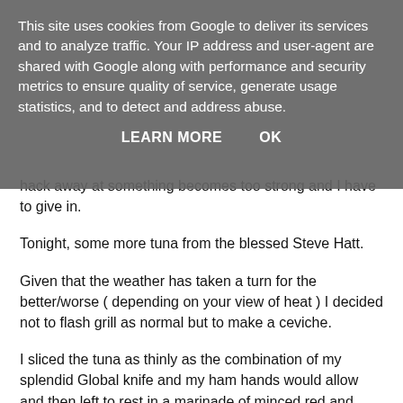This site uses cookies from Google to deliver its services and to analyze traffic. Your IP address and user-agent are shared with Google along with performance and security metrics to ensure quality of service, generate usage statistics, and to detect and address abuse.
LEARN MORE   OK
hack away at something becomes too strong and I have to give in.
Tonight, some more tuna from the blessed Steve Hatt.
Given that the weather has taken a turn for the better/worse ( depending on your view of heat ) I decided not to flash grill as normal but to make a ceviche.
I sliced the tuna as thinly as the combination of my splendid Global knife and my ham hands would allow and then left to rest in a marinade of minced red and yellow Thai chillies, garlic, ginger, lemon and lime zest, lemon and lime juice, a drop of sesame oil and salt & Pepper for about an hour.